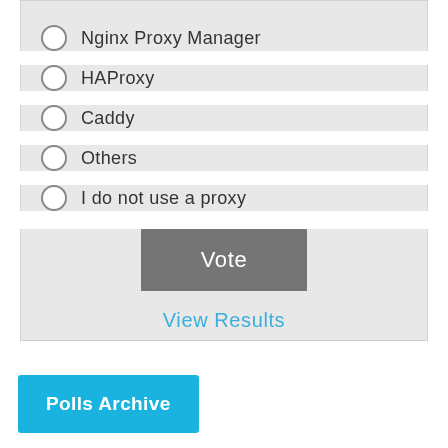Nginx Proxy Manager
HAProxy
Caddy
Others
I do not use a proxy
Vote
View Results
Polls Archive
Vitamins and Supplements
Your One Stop Vitamin Shop